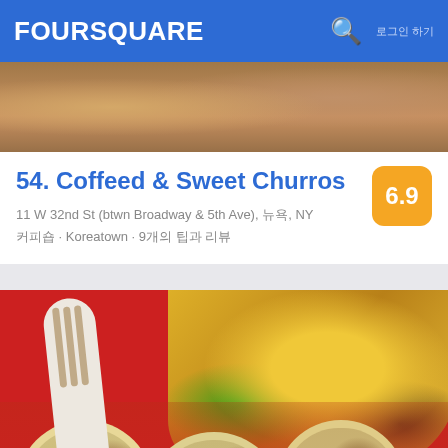FOURSQUARE
[Figure (photo): Partial food photo cropped at top]
54. Coffeed & Sweet Churros
6.9
11 W 32nd St (btwn Broadway & 5th Ave), 뉴욕, NY
커피숍 · Koreatown · 9개의 팁과 리뷰
[Figure (photo): Food photo showing tacos and a bowl of food on a red surface with a white plastic fork]
55. Breakroom
8.0
83 Baxter St (btwn Walker St & White St), 뉴욕, NY